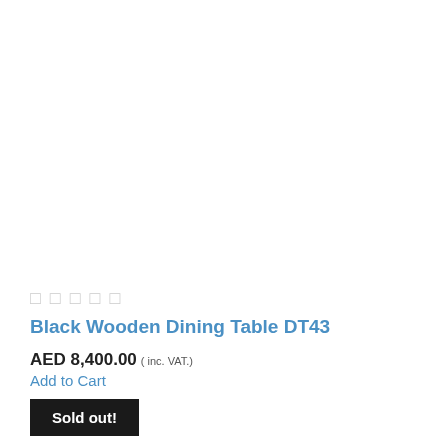★★★★★
Black Wooden Dining Table DT43
AED 8,400.00 ( inc. VAT.)
Add to Cart
Sold out!